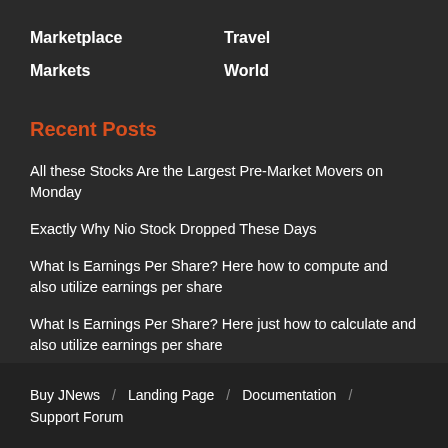Marketplace
Markets
Travel
World
Recent Posts
All these Stocks Are the Largest Pre-Market Movers on Monday
Exactly Why Nio Stock Dropped These Days
What Is Earnings Per Share? Here how to compute and also utilize earnings per share
What Is Earnings Per Share? Here just how to calculate and also utilize earnings per share
Buy JNews / Landing Page / Documentation / Support Forum